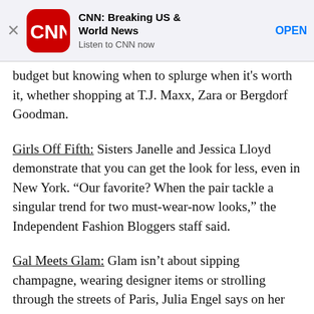[Figure (other): CNN app advertisement banner with close X button, CNN red rounded square logo, app name 'CNN: Breaking US & World News', subtitle 'Listen to CNN now', and blue 'OPEN' button]
budget but knowing when to splurge when it's worth it, whether shopping at T.J. Maxx, Zara or Bergdorf Goodman.
Girls Off Fifth: Sisters Janelle and Jessica Lloyd demonstrate that you can get the look for less, even in New York. “Our favorite? When the pair tackle a singular trend for two must-wear-now looks,” the Independent Fashion Bloggers staff said.
Gal Meets Glam: Glam isn’t about sipping champagne, wearing designer items or strolling through the streets of Paris, Julia Engel says on her blog. “I believe every gal can add a little glam to her life with small things,” be it red lipstick, leopard